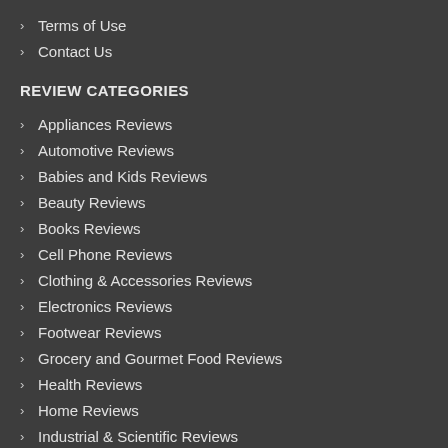Terms of Use
Contact Us
REVIEW CATEGORIES
Appliances Reviews
Automotive Reviews
Babies and Kids Reviews
Beauty Reviews
Books Reviews
Cell Phone Reviews
Clothing & Accessories Reviews
Electronics Reviews
Footwear Reviews
Grocery and Gourmet Food Reviews
Health Reviews
Home Reviews
Industrial & Scientific Reviews